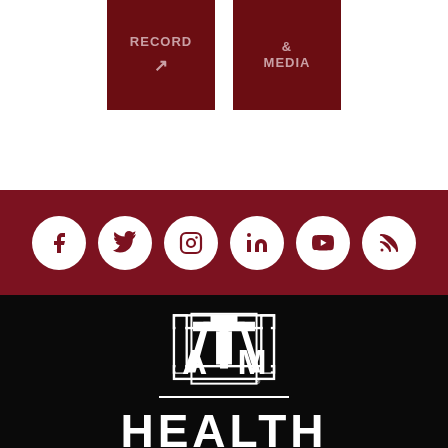[Figure (other): Two dark maroon button boxes: one labeled RECORD with an external link icon, one labeled & MEDIA]
[Figure (other): Dark maroon horizontal bar with six white social media icons in circles: Facebook, Twitter, Instagram, LinkedIn, YouTube, RSS]
[Figure (logo): Texas A&M University ATM logo in white on black background, with a horizontal white divider line and the beginning of the word HEALTH in large white bold letters below]